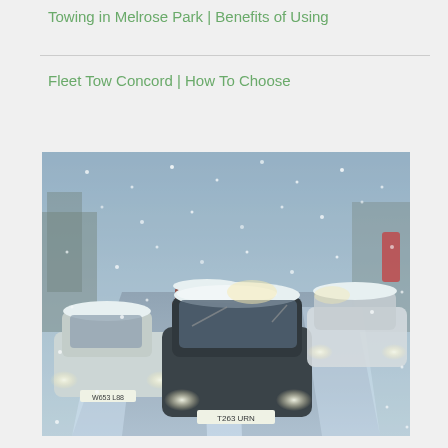Towing in Melrose Park | Benefits of Using
Fleet Tow Concord | How To Choose
[Figure (photo): Cars driving on a snow-covered road in heavy snowfall. Multiple vehicles with headlights on in winter traffic conditions. The foreground shows a dark car with license plate T263 URN covered in snow, and other vehicles including a white car and a red van in the background.]